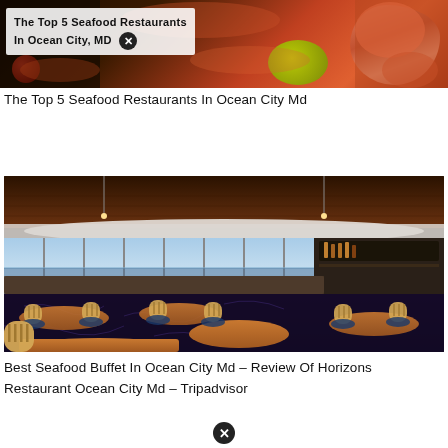[Figure (photo): Ad banner image showing seafood — shrimp, tomato, lime — with dark background and white text overlay reading 'The Top 5 Seafood Restaurants In Ocean City, MD' with a close (X) button]
The Top 5 Seafood Restaurants In Ocean City Md
[Figure (photo): Interior of Horizons Restaurant — a panoramic seafood restaurant with large floor-to-ceiling windows overlooking the ocean, round wooden tables, wicker chairs with blue cushions, patterned carpet, warm wood-paneled ceiling with pendant lights]
Best Seafood Buffet In Ocean City Md – Review Of Horizons Restaurant Ocean City Md – Tripadvisor